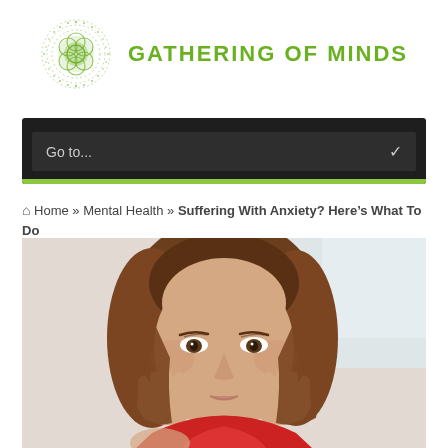[Figure (logo): Gathering of Minds logo with green dotted circular mandala graphic and green uppercase text 'GATHERING OF MINDS']
[Figure (screenshot): Dark navigation bar with dropdown reading 'Go to...' and a chevron, with a green accent bar at the bottom]
Home » Mental Health » Suffering With Anxiety? Here's What To Do
[Figure (photo): A woman with long brown hair wearing a red top, holding her face in her hands with a worried or anxious expression, light background]